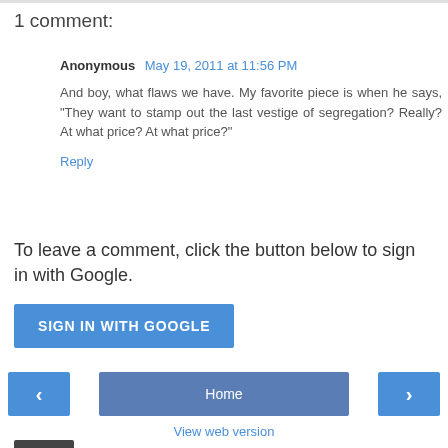1 comment:
Anonymous May 19, 2011 at 11:56 PM
And boy, what flaws we have. My favorite piece is when he says, "They want to stamp out the last vestige of segregation? Really? At what price? At what price?"
Reply
To leave a comment, click the button below to sign in with Google.
[Figure (other): SIGN IN WITH GOOGLE button]
[Figure (other): Navigation row with left arrow, Home button, and right arrow buttons, and View web version link]
View web version
Michael